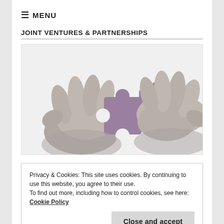≡ MENU
JOINT VENTURES & PARTNERSHIPS
[Figure (photo): Black and white photo of two hands holding purple puzzle pieces about to connect together]
Privacy & Cookies: This site uses cookies. By continuing to use this website, you agree to their use.
To find out more, including how to control cookies, see here: Cookie Policy
Close and accept